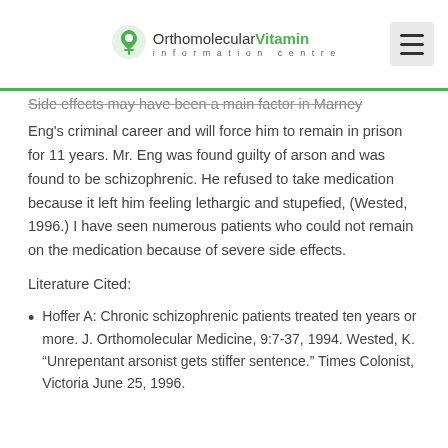Orthomolecular Vitamin information centre
Side effects may have been a main factor in Marney Eng's criminal career and will force him to remain in prison for 11 years. Mr. Eng was found guilty of arson and was found to be schizophrenic. He refused to take medication because it left him feeling lethargic and stupefied, (Wested, 1996.) I have seen numerous patients who could not remain on the medication because of severe side effects.
Literature Cited:
Hoffer A: Chronic schizophrenic patients treated ten years or more. J. Orthomolecular Medicine, 9:7-37, 1994. Wested, K. “Unrepentant arsonist gets stiffer sentence.” Times Colonist, Victoria June 25, 1996.